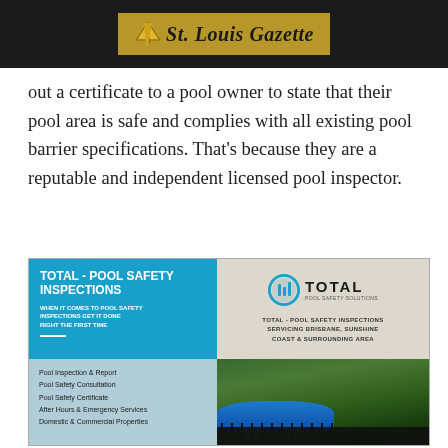St. Louis Gazette
out a certificate to a pool owner to state that their pool area is safe and complies with all existing pool barrier specifications. That's because they are a reputable and independent licensed pool inspector.
[Figure (advertisement): Total Pool Safety Inspections advertisement showing company branding, services list, and a photo of a pool with fence and tropical garden background.]